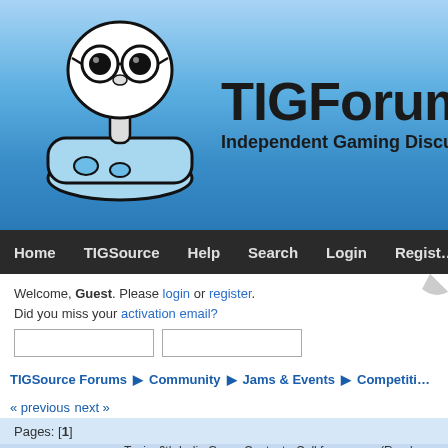[Figure (logo): TIGForums logo with joystick mascot wearing glasses on blue gradient background with site name and tagline]
Home  TIGSource  Help  Search  Login  Register
Welcome, Guest. Please login or register. Did you miss your activation email?
Login with username, password and session length
14023
TIGSource Forums  ▶  Community  ▶  Jams & Events  ▶  Competitio…
« previous next »
Pages: [1]
Author  Topic: 6th Indie Game Contest - Call for games  (Read 37…